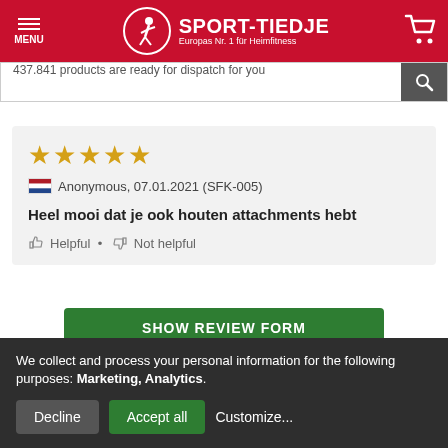[Figure (logo): Sport-Tiedje logo with red background, circular runner icon, brand name and tagline 'Europas Nr. 1 für Heimfitness']
437.841 products are ready for dispatch for you
★★★★★ Anonymous, 07.01.2021 (SFK-005)
Heel mooi dat je ook houten attachments hebt
👍 Helpful • 👎 Not helpful
SHOW REVIEW FORM
We collect and process your personal information for the following purposes: Marketing, Analytics.
Decline  Accept all  Customize...